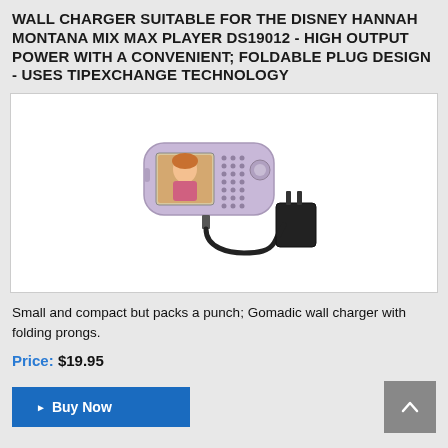WALL CHARGER SUITABLE FOR THE DISNEY HANNAH MONTANA MIX MAX PLAYER DS19012 - HIGH OUTPUT POWER WITH A CONVENIENT; FOLDABLE PLUG DESIGN - USES TIPEXCHANGE TECHNOLOGY
[Figure (photo): Product photo of a Disney Hannah Montana Mix Max Player connected via cable to a black wall charger with folding prongs]
Small and compact but packs a punch; Gomadic wall charger with folding prongs.
Price: $19.95
Buy Now